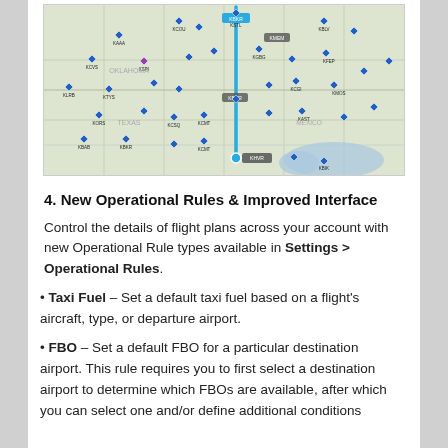[Figure (map): Aviation flight planning map showing a route (blue vertical line) through the central/southern United States. Multiple airport identifiers (ICAO codes) marked with blue diamond icons scattered across the map. A highlighted route runs vertically through the center.]
4. New Operational Rules & Improved Interface
Control the details of flight plans across your account with new Operational Rule types available in Settings > Operational Rules.
Taxi Fuel – Set a default taxi fuel based on a flight's aircraft, type, or departure airport.
FBO – Set a default FBO for a particular destination airport. This rule requires you to first select a destination airport to determine which FBOs are available, after which you can select one and/or define additional conditions